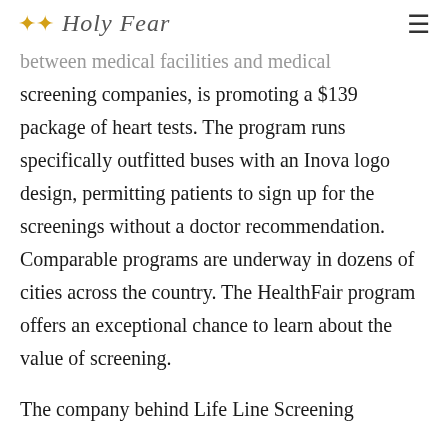Holy Fear
between medical facilities and medical screening companies, is promoting a $139 package of heart tests. The program runs specifically outfitted buses with an Inova logo design, permitting patients to sign up for the screenings without a doctor recommendation. Comparable programs are underway in dozens of cities across the country. The HealthFair program offers an exceptional chance to learn about the value of screening.
The company behind Life Line Screening